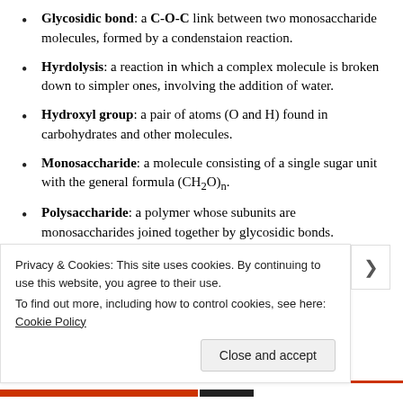Glycosidic bond: a C-O-C link between two monosaccharide molecules, formed by a condenstaion reaction.
Hyrdolysis: a reaction in which a complex molecule is broken down to simpler ones, involving the addition of water.
Hydroxyl group: a pair of atoms (O and H) found in carbohydrates and other molecules.
Monosaccharide: a molecule consisting of a single sugar unit with the general formula (CH₂O)n.
Polysaccharide: a polymer whose subunits are monosaccharides joined together by glycosidic bonds.
Privacy & Cookies: This site uses cookies. By continuing to use this website, you agree to their use. To find out more, including how to control cookies, see here: Cookie Policy
Close and accept